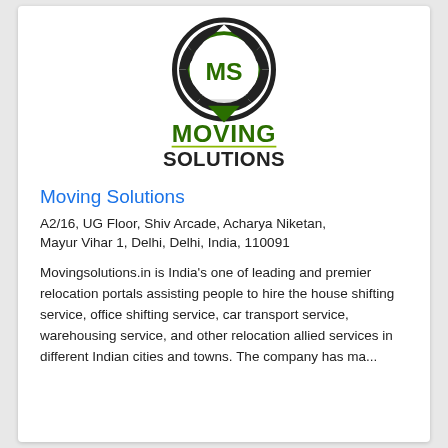[Figure (logo): Moving Solutions logo: a globe made of puzzle-like segments with 'MS' text inside, green and black colors, with 'MOVING SOLUTIONS' text below in green and black bold letters]
Moving Solutions
A2/16, UG Floor, Shiv Arcade, Acharya Niketan, Mayur Vihar 1, Delhi, Delhi, India, 110091
Movingsolutions.in is India's one of leading and premier relocation portals assisting people to hire the house shifting service, office shifting service, car transport service, warehousing service, and other relocation allied services in different Indian cities and towns. The company has ma...